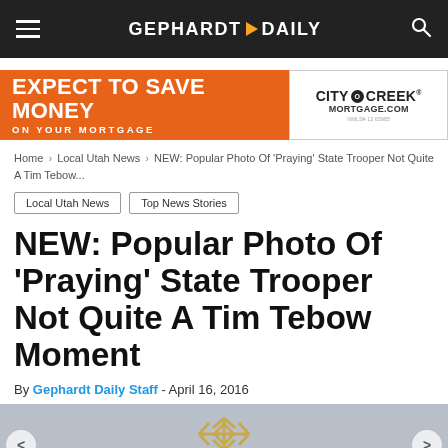GEPHARDT DAILY
[Figure (screenshot): Advertisement banner: EXPECT TO SAVE MONEY ON YOUR MORTGAGE - CITY CREEK MORTGAGE.COM]
Home > Local Utah News > NEW: Popular Photo Of 'Praying' State Trooper Not Quite A Tim Tebow...
Local Utah News
Top News Stories
NEW: Popular Photo Of 'Praying' State Trooper Not Quite A Tim Tebow Moment
By Gephardt Daily Staff - April 16, 2016
[Figure (photo): Article hero image showing ES SOLAR logo overlay on a landscape/outdoor background with navigation arrows on sides]